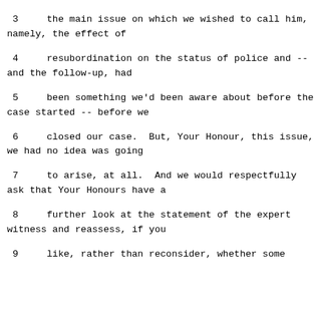3     the main issue on which we wished to call him,
namely, the effect of
4     resubordination on the status of police and --
and the follow-up, had
5     been something we'd been aware about before the
case started -- before we
6     closed our case.  But, Your Honour, this issue,
we had no idea was going
7     to arise, at all.  And we would respectfully
ask that Your Honours have a
8     further look at the statement of the expert
witness and reassess, if you
9     like, rather than reconsider, whether some